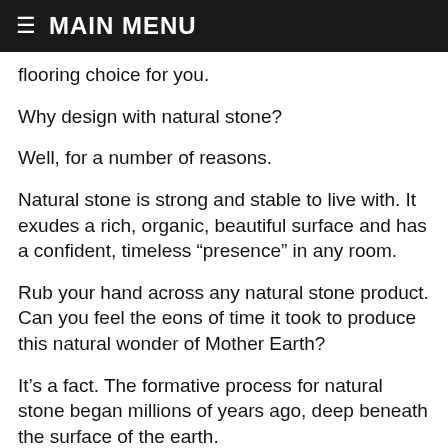≡ MAIN MENU
flooring choice for you.
Why design with natural stone?
Well, for a number of reasons.
Natural stone is strong and stable to live with. It exudes a rich, organic, beautiful surface and has a confident, timeless “presence” in any room.
Rub your hand across any natural stone product. Can you feel the eons of time it took to produce this natural wonder of Mother Earth?
It’s a fact. The formative process for natural stone began millions of years ago, deep beneath the surface of the earth.